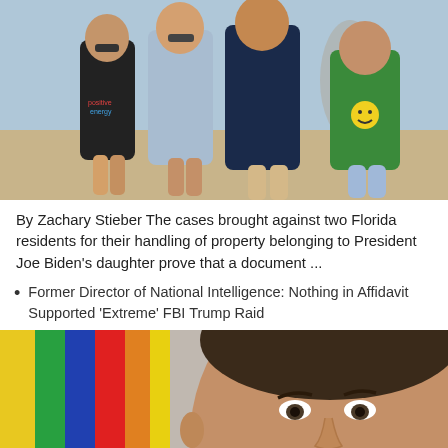[Figure (photo): Group of people walking on a beach. From left: a young woman in a black sleeveless shirt reading 'positive energy' with sunglasses, a man in a light blue shirt, a taller man in a dark navy polo shirt, and a young woman in a green sweatshirt with a smiley face. The background shows a sandy beach.]
By Zachary Stieber The cases brought against two Florida residents for their handling of property belonging to President Joe Biden's daughter prove that a document ...
Former Director of National Intelligence: Nothing in Affidavit Supported 'Extreme' FBI Trump Raid
[Figure (photo): Close-up photo of a man with short dark hair looking slightly to the side. In the background are colorful surfboards or flags in yellow, green, blue, red and other colors.]